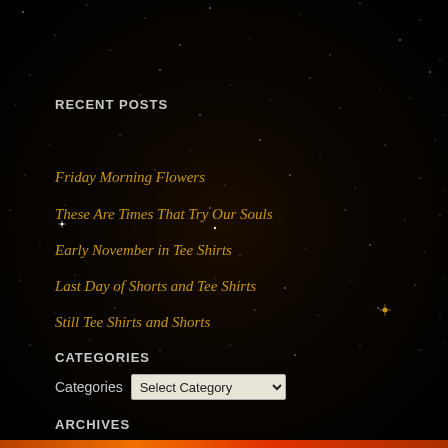RECENT POSTS
Friday Morning Flowers
These Are Times That Try Our Souls
Early November in Tee Shirts
Last Day of Shorts and Tee Shirts
Still Tee Shirts and Shorts
CATEGORIES
Categories  Select Category
ARCHIVES
Archives  Select Month
Search ...